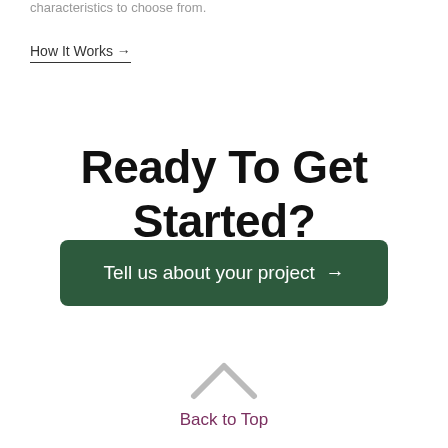characteristics to choose from.
How It Works →
Ready To Get Started?
Tell us about your project →
Back to Top